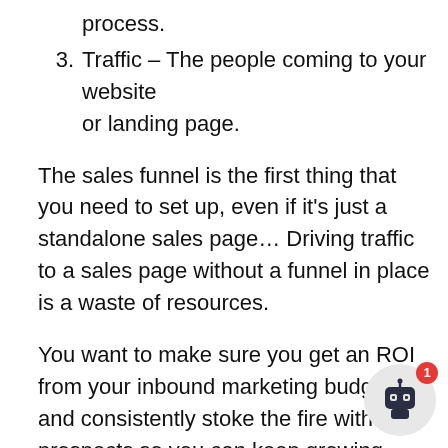process.
3.  Traffic – The people coming to your website or landing page.
The sales funnel is the first thing that you need to set up, even if it's just a standalone sales page… Driving traffic to a sales page without a funnel in place is a waste of resources.
You want to make sure you get an ROI from your inbound marketing budget, and consistently stoke the fire with new prospects so you can keep growing your business!
When you combine all three – traffic, your o and a follow-up process – you get sales!